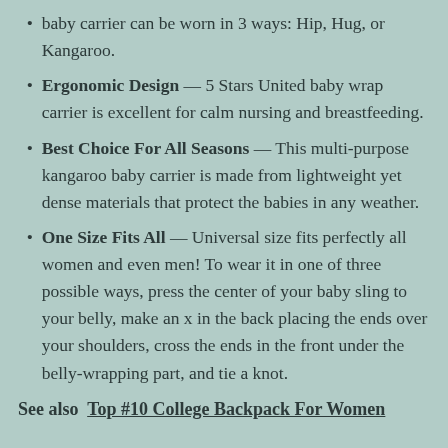baby carrier can be worn in 3 ways: Hip, Hug, or Kangaroo.
Ergonomic Design — 5 Stars United baby wrap carrier is excellent for calm nursing and breastfeeding.
Best Choice For All Seasons — This multi-purpose kangaroo baby carrier is made from lightweight yet dense materials that protect the babies in any weather.
One Size Fits All — Universal size fits perfectly all women and even men! To wear it in one of three possible ways, press the center of your baby sling to your belly, make an x in the back placing the ends over your shoulders, cross the ends in the front under the belly-wrapping part, and tie a knot.
See also  Top #10 College Backpack For Women